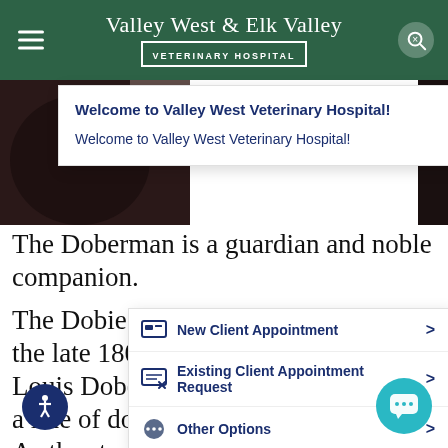Valley West & Elk Valley VETERINARY HOSPITAL
Welcome to Valley West Veterinary Hospital!
Welcome to Valley West Veterinary Hospital!
[Figure (screenshot): Photo of dog with pearl collar/necklace detail, dark background]
The Doberman is a guardian and noble companion.
The Dobie compared to the ancestry In the late 1800s, a Gern the name of Louis Dobermann began s tively breed a line of dogs to pro owner protection. As the story goes, Mr.
New Client Appointment >
Existing Client Appointment Request >
Other Options >